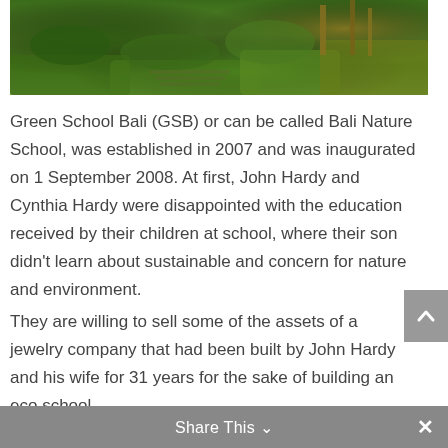[Figure (photo): Aerial or landscape view of lush green terraced garden with bamboo structures, dense vegetation and hedges at Green School Bali]
Green School Bali (GSB) or can be called Bali Nature School, was established in 2007 and was inaugurated on 1 September 2008. At first, John Hardy and Cynthia Hardy were disappointed with the education received by their children at school, where their son didn't learn about sustainable and concern for nature and environment.
They are willing to sell some of the assets of a jewelry company that had been built by John Hardy and his wife for 31 years for the sake of building an eco school.
Share This ∨  ×